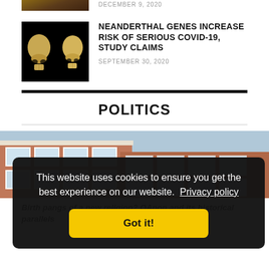[Figure (photo): Partial view of a thumbnail image at top, appears to be a rocky or earthy landscape]
DECEMBER 9, 2020
[Figure (photo): Two Neanderthal skull models on black background]
NEANDERTHAL GENES INCREASE RISK OF SERIOUS COVID-19, STUDY CLAIMS
SEPTEMBER 30, 2020
POLITICS
[Figure (photo): Upward angle photograph of red brick building facade with white-framed windows]
Birth pangs of a new religion? QAnon and its historical parallels
This website uses cookies to ensure you get the best experience on our website. Privacy policy
Got it!